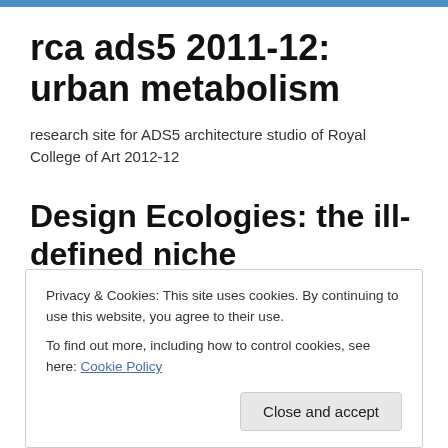rca ads5 2011-12: urban metabolism
research site for ADS5 architecture studio of Royal College of Art 2012-12
Design Ecologies: the ill-defined niche
Posted by jongoodbun
Privacy & Cookies: This site uses cookies. By continuing to use this website, you agree to their use.
To find out more, including how to control cookies, see here: Cookie Policy